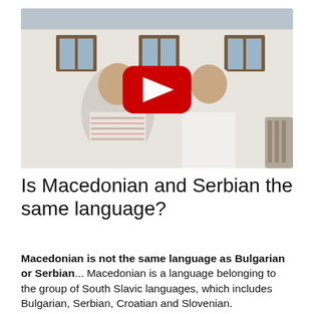[Figure (photo): Two men sitting outdoors in front of a white building with brown-framed windows. A YouTube play button overlay is centered on the image, indicating an embedded video thumbnail.]
Is Macedonian and Serbian the same language?
Macedonian is not the same language as Bulgarian or Serbian... Macedonian is a language belonging to the group of South Slavic languages, which includes Bulgarian, Serbian, Croatian and Slovenian.